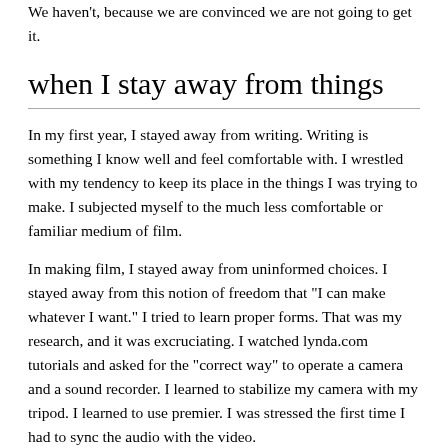We haven't, because we are convinced we are not going to get it.
when I stay away from things
In my first year, I stayed away from writing. Writing is something I know well and feel comfortable with. I wrestled with my tendency to keep its place in the things I was trying to make. I subjected myself to the much less comfortable or familiar medium of film.
In making film, I stayed away from uninformed choices. I stayed away from this notion of freedom that "I can make whatever I want." I tried to learn proper forms. That was my research, and it was excruciating. I watched lynda.com tutorials and asked for the "correct way" to operate a camera and a sound recorder. I learned to stabilize my camera with my tripod. I learned to use premier. I was stressed the first time I had to sync the audio with the video.
I called this process a penance — I was choosing to do the things that pained me and exhausted me. I felt like an idiot around the medium, not to mention the craft of it. In order to